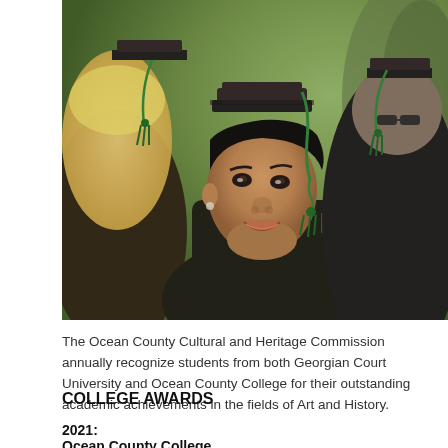[Figure (photo): A smiling young Black woman in graduation cap and gown with green tassel, surrounded by other graduates in caps and gowns with green tassels, at an outdoor graduation ceremony.]
The Ocean County Cultural and Heritage Commission annually recognize students from both Georgian Court University and Ocean County College for their outstanding academic achievements in the fields of Art and History.
COLLEGE AWARDS
2021:
Ocean County College